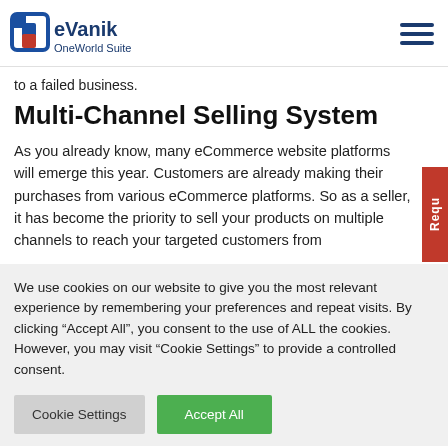eVanik OneWorld Suite
to a failed business.
Multi-Channel Selling System
As you already know, many eCommerce website platforms will emerge this year. Customers are already making their purchases from various eCommerce platforms. So as a seller, it has become the priority to sell your products on multiple channels to reach your targeted customers from
We use cookies on our website to give you the most relevant experience by remembering your preferences and repeat visits. By clicking “Accept All”, you consent to the use of ALL the cookies. However, you may visit “Cookie Settings” to provide a controlled consent.
Cookie Settings | Accept All